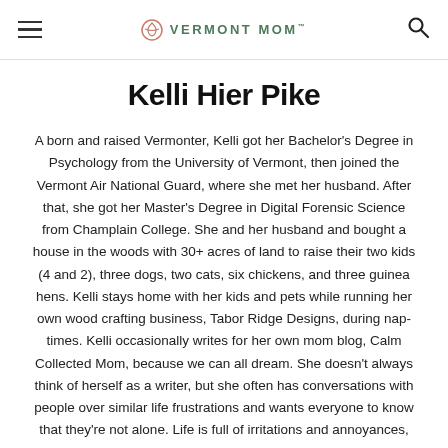VERMONT MOM
Kelli Hier Pike
A born and raised Vermonter, Kelli got her Bachelor's Degree in Psychology from the University of Vermont, then joined the Vermont Air National Guard, where she met her husband. After that, she got her Master's Degree in Digital Forensic Science from Champlain College. She and her husband and bought a house in the woods with 30+ acres of land to raise their two kids (4 and 2), three dogs, two cats, six chickens, and three guinea hens. Kelli stays home with her kids and pets while running her own wood crafting business, Tabor Ridge Designs, during nap-times. Kelli occasionally writes for her own mom blog, Calm Collected Mom, because we can all dream. She doesn't always think of herself as a writer, but she often has conversations with people over similar life frustrations and wants everyone to know that they're not alone. Life is full of irritations and annoyances, but Kelli thinks that we'll get through it with a